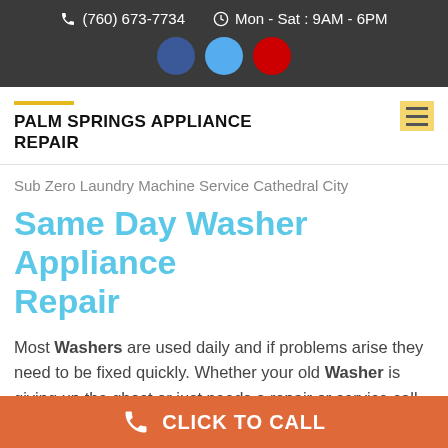(760) 673-7734  Mon - Sat : 9AM - 6PM
PALM SPRINGS APPLIANCE REPAIR
Sub Zero Laundry Machine Service Cathedral City
Same Day Washer Appliance Repair
Most Washers are used daily and if problems arise they need to be fixed quickly. Whether your old Washer is giving up the ghost or just needs a repair or service call, you can trust our friendly professionals to do the job right.
CLICK TO CALL